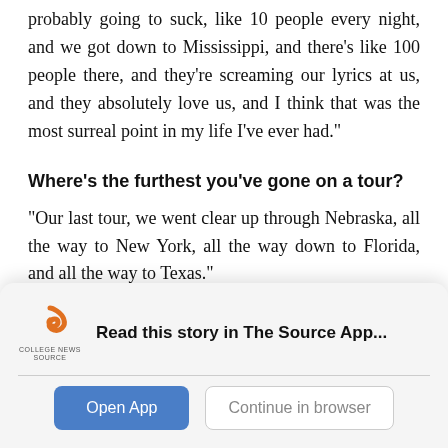probably going to suck, like 10 people every night, and we got down to Mississippi, and there’s like 100 people there, and they’re screaming our lyrics at us, and they absolutely love us, and I think that was the most surreal point in my life I’ve ever had.”
Where’s the furthest you’ve gone on a tour?
“Our last tour, we went clear up through Nebraska, all the way to New York, all the way down to Florida, and all the way to Texas.”
What’s your favorite city?
[Figure (logo): College News Source logo with orange S icon and text 'COLLEGE NEWS SOURCE']
Read this story in The Source App...
Open App | Continue in browser